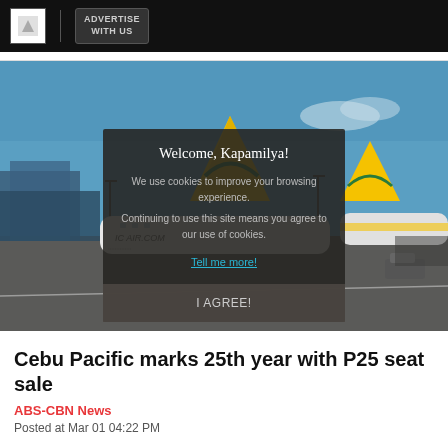ADVERTISE WITH US
[Figure (photo): Cebu Pacific aircraft parked at airport tarmac with yellow tail fins visible, blue sky background]
Welcome, Kapamilya!
We use cookies to improve your browsing experience.
Continuing to use this site means you agree to our use of cookies.
Tell me more!
I AGREE!
Cebu Pacific marks 25th year with P25 seat sale
ABS-CBN News
Posted at Mar 01 04:22 PM